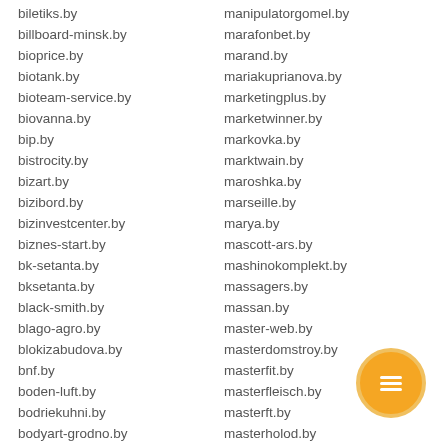biletiks.by
billboard-minsk.by
bioprice.by
biotank.by
bioteam-service.by
biovanna.by
bip.by
bistrocity.by
bizart.by
bizibord.by
bizinvestcenter.by
biznes-start.by
bk-setanta.by
bksetanta.by
black-smith.by
blago-agro.by
blokizabudova.by
bnf.by
boden-luft.by
bodriekuhni.by
bodyart-grodno.by
manipulatorgomel.by
marafonbet.by
marand.by
mariakuprianova.by
marketingplus.by
marketwinner.by
markovka.by
marktwain.by
maroshka.by
marseille.by
marya.by
mascott-ars.by
mashinokomplekt.by
massagers.by
massan.by
master-web.by
masterdomstroy.by
masterfit.by
masterfleisch.by
masterft.by
masterholod.by